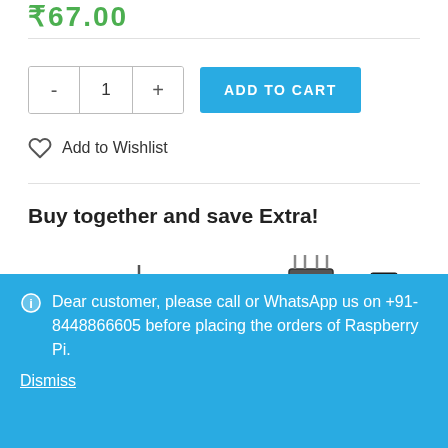₹67.00
- 1 + ADD TO CART
Add to Wishlist
Buy together and save Extra!
[Figure (photo): Bundle of electronic components: voltage regulator IC, diode, resistor, optocoupler IC, transistor]
Price for all: ₹69.00 ₹67.62
Dear customer, please call or WhatsApp us on +91-8448866605 before placing the orders of Raspberry Pi.
Dismiss